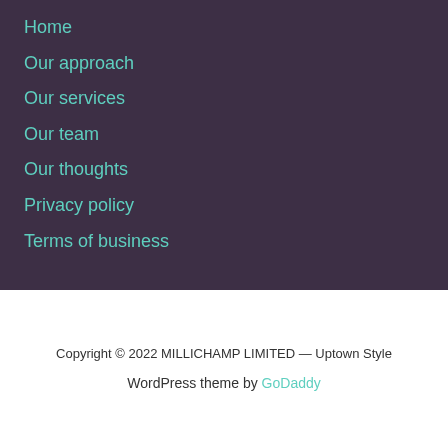Home
Our approach
Our services
Our team
Our thoughts
Privacy policy
Terms of business
Copyright © 2022 MILLICHAMP LIMITED — Uptown Style
WordPress theme by GoDaddy